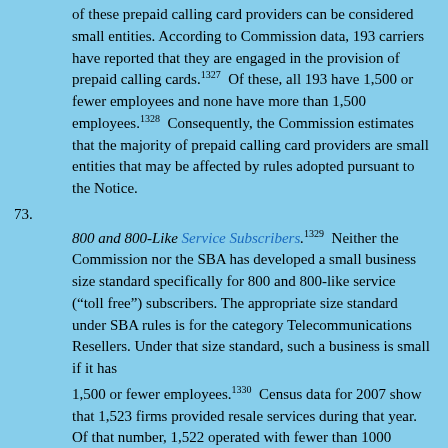of these prepaid calling card providers can be considered small entities. According to Commission data, 193 carriers have reported that they are engaged in the provision of prepaid calling cards.[1327] Of these, all 193 have 1,500 or fewer employees and none have more than 1,500 employees.[1328] Consequently, the Commission estimates that the majority of prepaid calling card providers are small entities that may be affected by rules adopted pursuant to the Notice.
73.
800 and 800-Like Service Subscribers.[1329] Neither the Commission nor the SBA has developed a small business size standard specifically for 800 and 800-like service (“toll free”) subscribers. The appropriate size standard under SBA rules is for the category Telecommunications Resellers. Under that size standard, such a business is small if it has 1,500 or fewer employees.[1330] Census data for 2007 show that 1,523 firms provided resale services during that year. Of that number, 1,522 operated with fewer than 1000 employees and one operated with more than 1,000.[1331] Thus under this category and the associated small business size standard, the majority of resellers in this classification can be considered small entities. To focus specifically on the